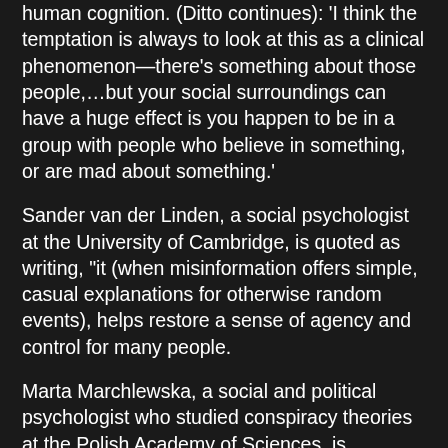human cognition. (Ditto continues): 'I think the temptation is always to look at this as a clinical phenomenon—there's something about those people,…but your social surroundings can have a huge effect is you happen to be in a group with people who believe in something, or are mad about something.'
Sander van der Linden, a social psychologist at the University of Cambridge, is quoted as writing, "it (when misinformation offers simple, casual explanations for otherwise random events), helps restore a sense of agency and control for many people.
Marta Marchlewska, a social and political psychologist who studied conspiracy theories at the Polish Academy of Sciences, is referenced on the issue of people using cognitive short-cuts, "largely unconscious rules-of-thumb t6o make faster decisions to determine what they believe. And people experiencing anxiety or a sense of disorder, those who crave cognitive closure, may be even more reliant on those cognitive short-cuts to make sense of the world. Marchlewska's research also suggests that collective narcissists (those with an inflated belief in a group's